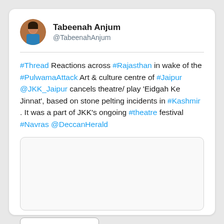Tabeenah Anjum @TabeenahAnjum
#Thread Reactions across #Rajasthan in wake of the #PulwamaAttack Art & culture centre of #Jaipur @JKK_Jaipur cancels theatre/ play 'Eidgah Ke Jinnat', based on stone pelting incidents in #Kashmir . It was a part of JKK's ongoing #theatre festival #Navras @DeccanHerald
[Figure (photo): Embedded image placeholder within tweet]
Read 8 tweets